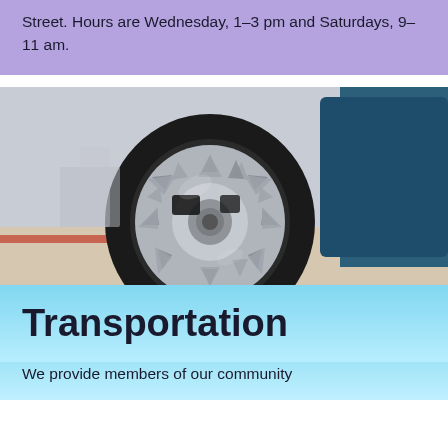Street. Hours are Wednesday, 1–3 pm and Saturdays, 9–11 am.
[Figure (photo): Close-up photograph of a silver alloy car wheel/tire on a dark blue vehicle, with a blurred background showing a red stripe on the ground.]
Transportation
We provide members of our community